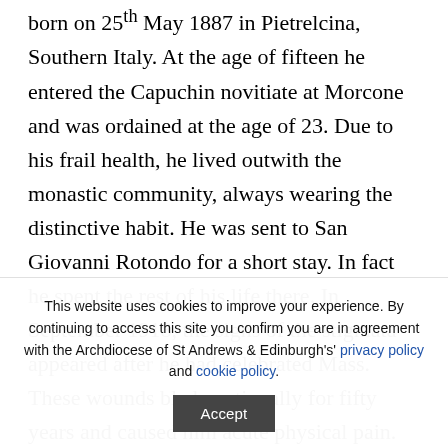born on 25th May 1887 in Pietrelcina, Southern Italy. At the age of fifteen he entered the Capuchin novitiate at Morcone and was ordained at the age of 23. Due to his frail health, he lived outwith the monastic community, always wearing the distinctive habit. He was sent to San Giovanni Rotondo for a short stay. In fact he spent the rest of his life there. In September 1918, the signs of the stigmata appeared after he had celebrated Mass. These wounds bled continually for fifty years and caused him acute physical pain. Despite this, he made himself available to
This website uses cookies to improve your experience. By continuing to access this site you confirm you are in agreement with the Archdiocese of St Andrews & Edinburgh's' privacy policy and cookie policy.